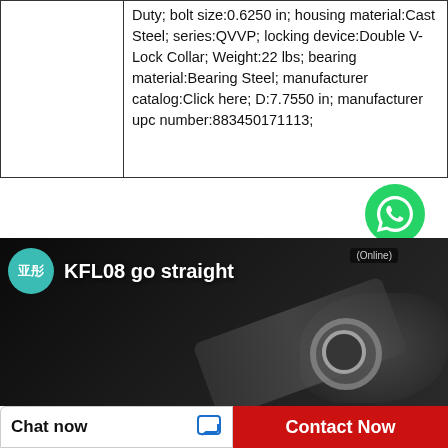|  | Duty; bolt size:0.6250 in; housing material:Cast Steel; series:QVVP; locking device:Double V-Lock Collar; Weight:22 lbs; bearing material:Bearing Steel; manufacturer catalog:Click here; D:7.7550 in; manufacturer upc number:883450171113; |
[Figure (logo): WhatsApp green circle icon with phone handset, labeled 'WhatsApp' and 'Online']
[Figure (screenshot): Video thumbnail showing a person holding a bearing unit (KFL08 pillow block bearing). Channel icon is a teal circle with Chinese characters 亚彤. Title reads 'KFL08 go straight'. Online badge visible top right.]
Chat now
Contact Now